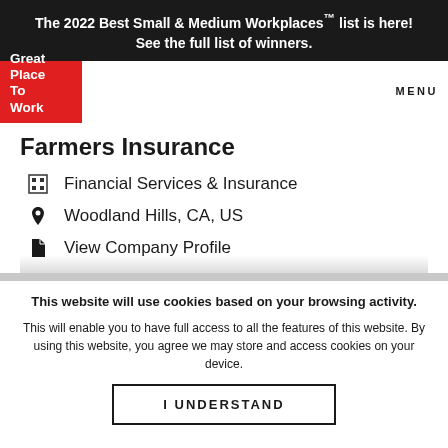The 2022 Best Small & Medium Workplaces™ list is here! See the full list of winners.
[Figure (logo): Great Place To Work logo — white text on red background]
MENU
Farmers Insurance
Financial Services & Insurance
Woodland Hills, CA, US
View Company Profile
This website will use cookies based on your browsing activity.
This will enable you to have full access to all the features of this website. By using this website, you agree we may store and access cookies on your device.
I UNDERSTAND